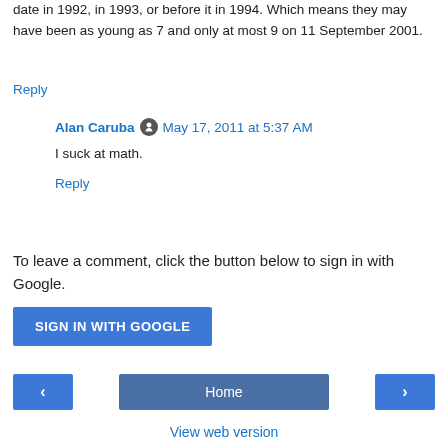date in 1992, in 1993, or before it in 1994. Which means they may have been as young as 7 and only at most 9 on 11 September 2001.
Reply
Alan Caruba  May 17, 2011 at 5:37 AM
I suck at math.
Reply
To leave a comment, click the button below to sign in with Google.
SIGN IN WITH GOOGLE
Home
View web version